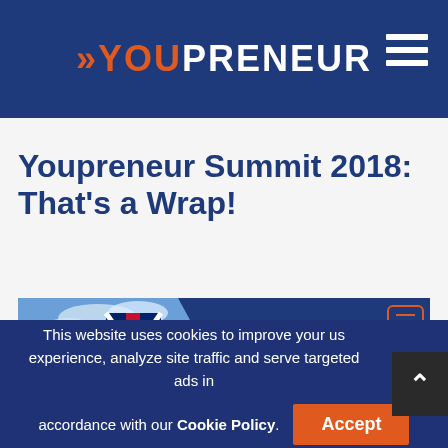YOUPRENEUR
Youpreneur Summit 2018: That's a Wrap!
[Figure (photo): Article header image showing Westminster/London with British flag and a blue slide with 'Youpreneur' text, with a chat icon overlay]
This website uses cookies to improve your user experience, analyze site traffic and serve targeted ads in accordance with our Cookie Policy.